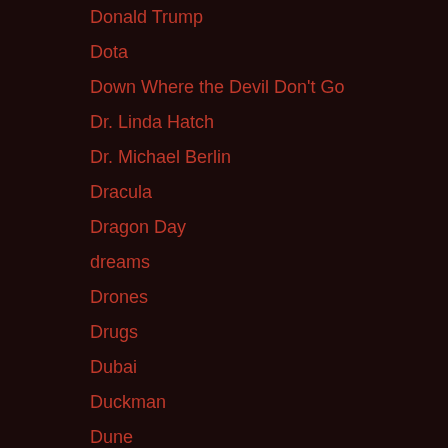Donald Trump
Dota
Down Where the Devil Don't Go
Dr. Linda Hatch
Dr. Michael Berlin
Dracula
Dragon Day
dreams
Drones
Drugs
Dubai
Duckman
Dune
Duran Duran
Dylann Roof